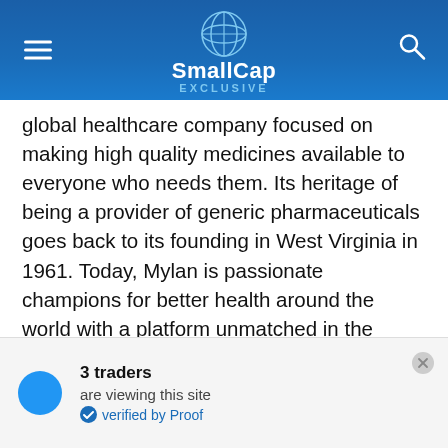SmallCap EXCLUSIVE
global healthcare company focused on making high quality medicines available to everyone who needs them. Its heritage of being a provider of generic pharmaceuticals goes back to its founding in West Virginia in 1961. Today, Mylan is passionate champions for better health around the world with a platform unmatched in the industry. They have one of the broadest and most diverse portfolios, with more than 7,500 marketed products that include prescription generic and brand-name medicines, and consumer healthcare products. Their healthcare services help patients to access products and adhere to medication
3 traders are viewing this site verified by Proof